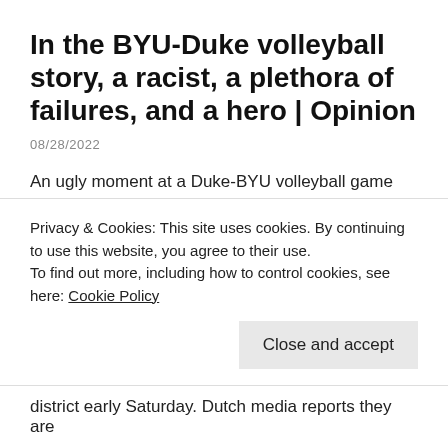In the BYU-Duke volleyball story, a racist, a plethora of failures, and a hero | Opinion
08/28/2022
An ugly moment at a Duke-BYU volleyball game featured a number of people who failed, but also a hero in Blue Devils player Rachel Richardson.
2 Dutch soldiers shot outside
Privacy & Cookies: This site uses cookies. By continuing to use this website, you agree to their use.
To find out more, including how to control cookies, see here: Cookie Policy
district early Saturday. Dutch media reports they are